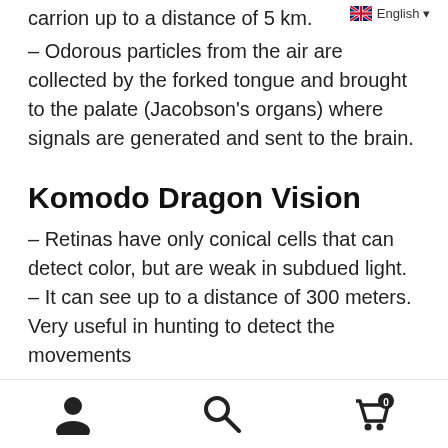carrion up to a distance of 5 km.
English
– Odorous particles from the air are collected by the forked tongue and brought to the palate (Jacobson's organs) where signals are generated and sent to the brain.
Komodo Dragon Vision
– Retinas have only conical cells that can detect color, but are weak in subdued light.
– It can see up to a distance of 300 meters.
Very useful in hunting to detect the movements
user icon | search icon | cart icon (0)